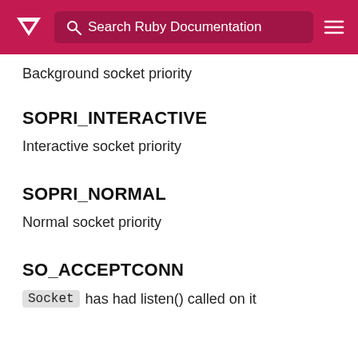Search Ruby Documentation
Background socket priority
SOPRI_INTERACTIVE
Interactive socket priority
SOPRI_NORMAL
Normal socket priority
SO_ACCEPTCONN
Socket has had listen() called on it